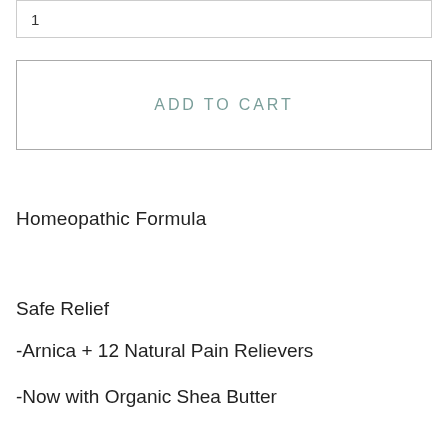1
ADD TO CART
Homeopathic Formula
Safe Relief
-Arnica + 12 Natural Pain Relievers
-Now with Organic Shea Butter